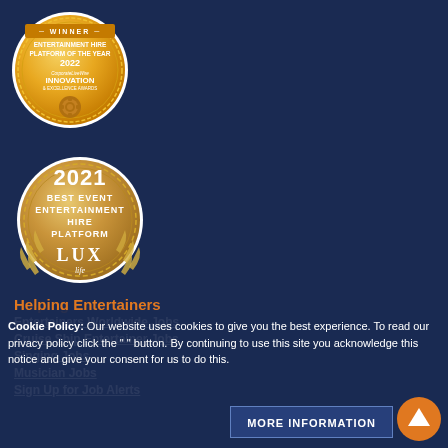[Figure (logo): Gold circular award badge: WINNER - ENTERTAINMENT HIRE PLATFORM OF THE YEAR 2022, CorporateLiveWire INNOVATION & EXCELLENCE AWARDS, with gear icon]
[Figure (logo): Gold circular award badge: 2021 BEST EVENT ENTERTAINMENT HIRE PLATFORM, LUX life logo with laurel leaves]
Helping Entertainers
Entertainers Worldwide Jobs
Cruise Ship Entertainer Jobs
Singing Jobs
Musician Jobs
Sign Up for Job Alerts
Cookie Policy: Our website uses cookies to give you the best experience. To read our privacy policy click the " " button. By continuing to use this site you acknowledge this notice and give your consent for us to do this.
MORE INFORMATION